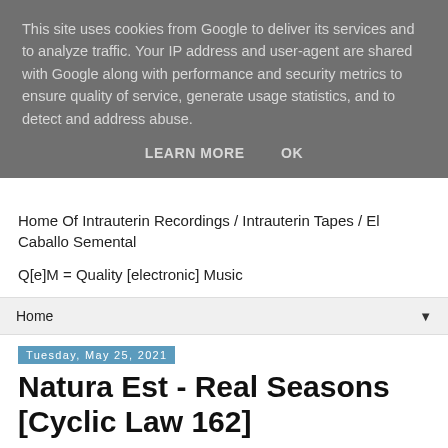This site uses cookies from Google to deliver its services and to analyze traffic. Your IP address and user-agent are shared with Google along with performance and security metrics to ensure quality of service, generate usage statistics, and to detect and address abuse.
LEARN MORE   OK
Home Of Intrauterin Recordings / Intrauterin Tapes / El Caballo Semental
Q[e]M = Quality [electronic] Music
Home ▼
Tuesday, May 25, 2021
Natura Est - Real Seasons [Cyclic Law 162]
Put out on the circuit in late April, 2k21 via the ever active imprint that is Cyclic Law is "Real Seasons", the third album